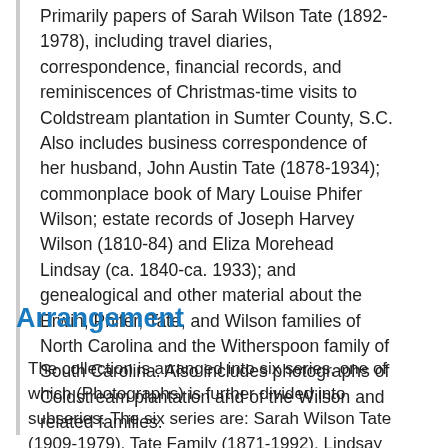Primarily papers of Sarah Wilson Tate (1892-1978), including travel diaries, correspondence, financial records, and reminiscences of Christmas-time visits to Coldstream plantation in Sumter County, S.C. Also includes business correspondence of her husband, John Austin Tate (1878-1934); commonplace book of Mary Louise Phifer Wilson; estate records of Joseph Harvey Wilson (1810-84) and Eliza Morehead Lindsay (ca. 1840-ca. 1933); and genealogical and other material about the Erwin, Phifer, Tate, and Wilson families of North Carolina and the Witherspoon family of South Carolina. Also includes photographs of Coldstream plantation and of the Wilson and related families.
Arrangement
The collection is arranged into six series, one of which (Photographs) is further divided into subseries. The six series are: Sarah Wilson Tate (1909-1979), Tate Family (1871-1992), Lindsay Family (1840-1946), Wilson Family (1765-1975), Phifer, Erwin and Witherspoon Families (1884-